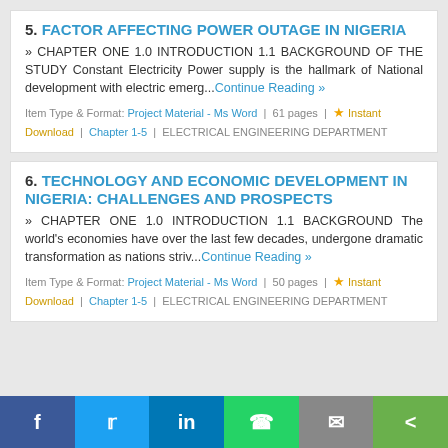5. FACTOR AFFECTING POWER OUTAGE IN NIGERIA
» CHAPTER ONE 1.0 INTRODUCTION 1.1 BACKGROUND OF THE STUDY Constant Electricity Power supply is the hallmark of National development with electric emerg...Continue Reading »
Item Type & Format: Project Material - Ms Word | 61 pages | ★ Instant Download | Chapter 1-5 | ELECTRICAL ENGINEERING DEPARTMENT
6. TECHNOLOGY AND ECONOMIC DEVELOPMENT IN NIGERIA: CHALLENGES AND PROSPECTS
» CHAPTER ONE 1.0 INTRODUCTION 1.1 BACKGROUND The world's economies have over the last few decades, undergone dramatic transformation as nations striv...Continue Reading »
Item Type & Format: Project Material - Ms Word | 50 pages | ★ Instant Download | Chapter 1-5 | ELECTRICAL ENGINEERING DEPARTMENT